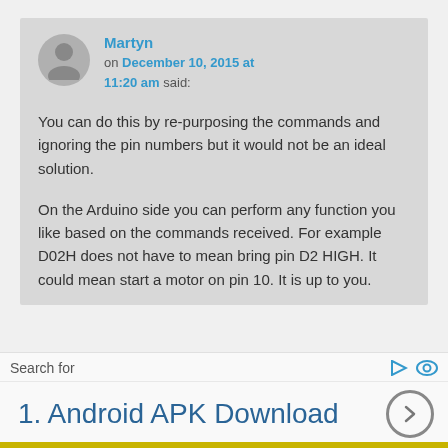Martyn
on December 10, 2015 at 11:20 am said:
You can do this by re-purposing the commands and ignoring the pin numbers but it would not be an ideal solution.
On the Arduino side you can perform any function you like based on the commands received. For example D02H does not have to mean bring pin D2 HIGH. It could mean start a motor on pin 10. It is up to you.
Search for
1.  Android APK Download